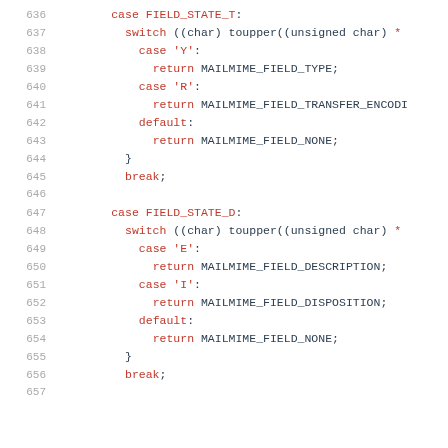[Figure (screenshot): Source code listing showing lines 636-657 of a C program with switch-case statements for FIELD_STATE_T and FIELD_STATE_D, returning MAILMIME_FIELD_TYPE, MAILMIME_FIELD_TRANSFER_ENCODING, MAILMIME_FIELD_NONE, MAILMIME_FIELD_DESCRIPTION, MAILMIME_FIELD_DISPOSITION values.]